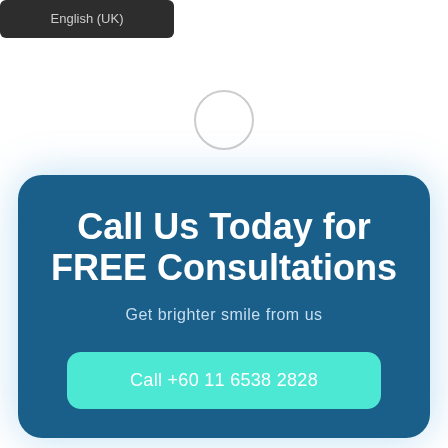English (UK)
[Figure (other): A circular icon/avatar placeholder in the upper center of the page]
Call Us Today for FREE Consultations
Get brighter smile from us
Call +60 11 6538 2828